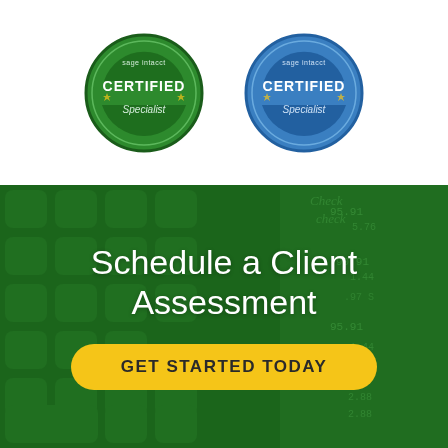[Figure (logo): Two Sage Intacct Certified Specialist badges side by side — one green, one blue]
[Figure (photo): Background photo of a calculator and receipt/check paper with numbers, overlaid with a dark green tint]
Schedule a Client Assessment
GET STARTED TODAY